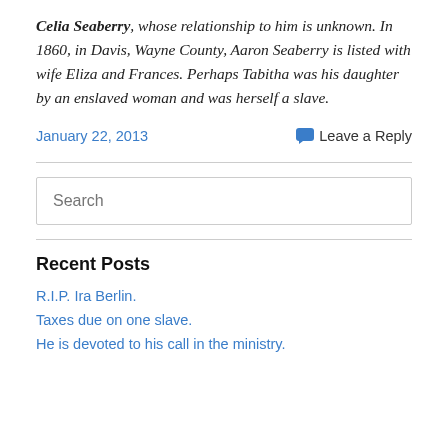Celia Seaberry, whose relationship to him is unknown. In 1860, in Davis, Wayne County, Aaron Seaberry is listed with wife Eliza and Frances. Perhaps Tabitha was his daughter by an enslaved woman and was herself a slave.
January 22, 2013
Leave a Reply
Search
Recent Posts
R.I.P. Ira Berlin.
Taxes due on one slave.
He is devoted to his call in the ministry.